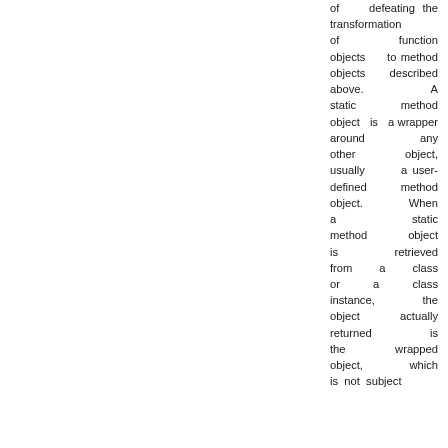of defeating the transformation of function objects to method objects described above. A static method object is a wrapper around any other object, usually a user-defined method object. When a static method object is retrieved from a class or a class instance, the object actually returned is the wrapped object, which is not subject